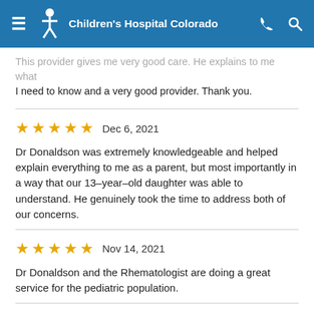Children's Hospital Colorado
This provider gives me very good care. He explains to me what I need to know and a very good provider. Thank you.
★★★★★  Dec 6, 2021
Dr Donaldson was extremely knowledgeable and helped explain everything to me as a parent, but most importantly in a way that our 13–year–old daughter was able to understand. He genuinely took the time to address both of our concerns.
★★★★★  Nov 14, 2021
Dr Donaldson and the Rhematologist are doing a great service for the pediatric population.